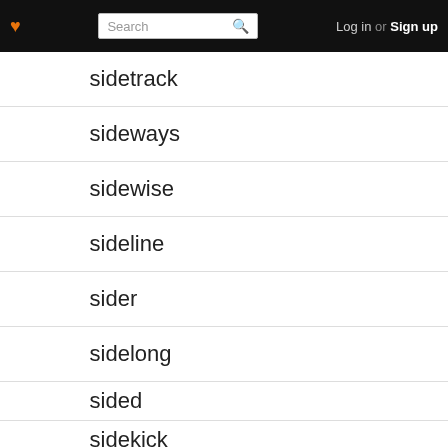♥ Search Log in or Sign up
sidetrack
sideways
sidewise
sideline
sider
sidelong
sided
sidekick
sidecar